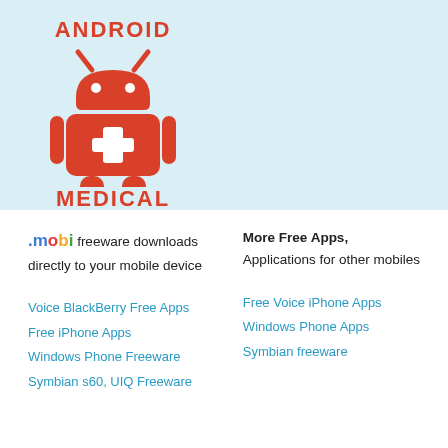[Figure (logo): Android Medical logo: red Android robot figure with a white medical cross on its chest, with 'ANDROID' text above and 'MEDICAL' text below in red uppercase letters]
.mobi freeware downloads directly to your mobile device
More Free Apps, Applications for other mobiles
Voice BlackBerry Free Apps
Free iPhone Apps
Windows Phone Freeware
Symbian s60, UIQ Freeware
Free Voice iPhone Apps
Windows Phone Apps
Symbian freeware